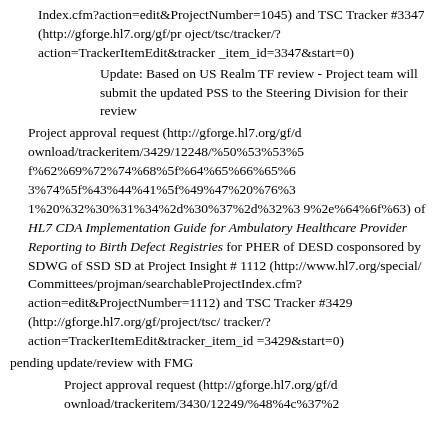Index.cfm?action=edit&ProjectNumber=1045) and TSC Tracker #3347 (http://gforge.hl7.org/gf/project/tsc/tracker/?action=TrackerItemEdit&tracker_item_id=3347&start=0)
Update: Based on US Realm TF review - Project team will submit the updated PSS to the Steering Division for their review
Project approval request (http://gforge.hl7.org/gf/download/trackeritem/3429/12248/%50%53%53%5f%62%69%72%74%68%5f%64%65%66%65%63%74%5f%43%44%41%5f%49%47%20%76%31%20%32%30%31%34%2d%30%37%2d%32%39%2e%64%6f%63) of HL7 CDA Implementation Guide for Ambulatory Healthcare Provider Reporting to Birth Defect Registries for PHER of DESD cosponsored by SDWG of SSD SD at Project Insight # 1112 (http://www.hl7.org/special/Committees/projman/searchableProjectIndex.cfm?action=edit&ProjectNumber=1112) and TSC Tracker #3429 (http://gforge.hl7.org/gf/project/tsc/tracker/?action=TrackerItemEdit&tracker_item_id=3429&start=0)
pending update/review with FMG
Project approval request (http://gforge.hl7.org/gf/download/trackeritem/3430/12249/%48%4c%37%2